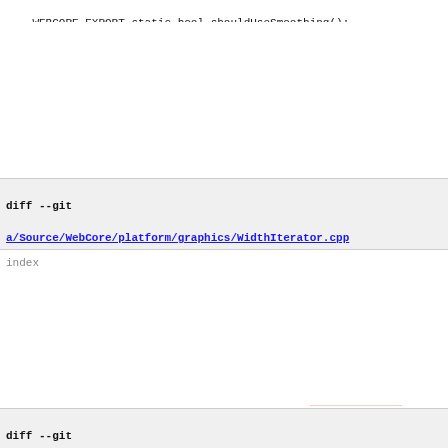WEBCORE_EXPORT static bool shouldUseSmoothing();
@@ -240,6 +239,9 @@ private:
int offsetForPositionForComplexText(const TextRun&, flo
void adjustSelectionRectForComplexText(const TextRun&,
+    static unsigned expansionOpportunityCountInternal(const
+    static unsigned expansionOpportunityCountInternal(const
+
friend struct WidthIterator;
friend class SVGTextRunRenderingContext;
diff --git a/Source/WebCore/platform/graphics/WidthIterator.cpp b/Source/WebCore/platform/graphics/WidthIterator.cpp
index 4136d1e3da7ed8e007beffbea6202b5c4712208f..f2c7c05e7d3295c2c7 100644 (file)
--- a/Source/WebCore/platform/graphics/WidthIterator.cpp
+++ b/Source/WebCore/platform/graphics/WidthIterator.cpp
@@ -57,7 +57,7 @@ WidthIterator::WidthIterator(const Font* f
m_expansionPerOpportunity = 0;
else {
bool isAfterExpansion = m_isAfterExpansion;
-        unsigned expansionOpportunityCount = m_run.is8Bit()
+        unsigned expansionOpportunityCount = Font::expansio
if (isAfterExpansion && !m_run.allowsTrailingExpans
expansionOpportunityCount--;
diff --git a/Source/WebCore/platform/graphics/mac/ComplexTextControlle